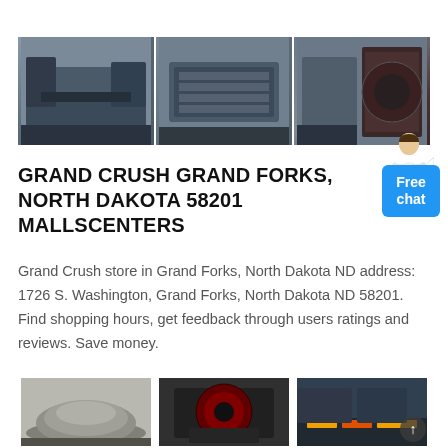[Figure (photo): Strip of three industrial crusher/mill machine photos in a factory setting]
GRAND CRUSH GRAND FORKS, NORTH DAKOTA 58201 MALLSCENTERS
Grand Crush store in Grand Forks, North Dakota ND address: 1726 S. Washington, Grand Forks, North Dakota ND 58201. Find shopping hours, get feedback through users ratings and reviews. Save money.
[Figure (photo): Strip of three industrial crusher machine component photos including cone crusher mantle, jaw crusher, and industrial processing equipment]